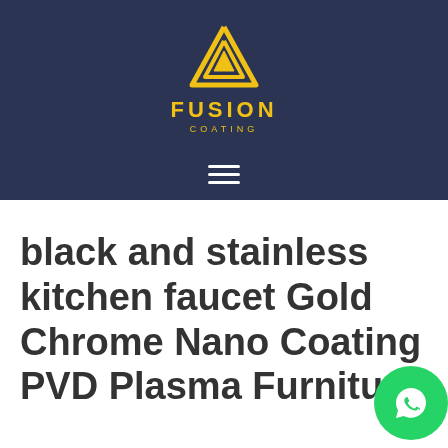[Figure (logo): Fusion Coating logo: yellow geometric triangle/arrow symbol above text 'FUSION' in bold yellow caps and 'COATING' in smaller yellow caps, on dark navy background]
[Figure (other): Hamburger menu icon: three horizontal white lines on dark navy background]
black and stainless kitchen faucet Gold Chrome Nano Coating PVD Plasma Furniture
[Figure (other): WhatsApp floating button icon, green circle with white phone/chat icon]